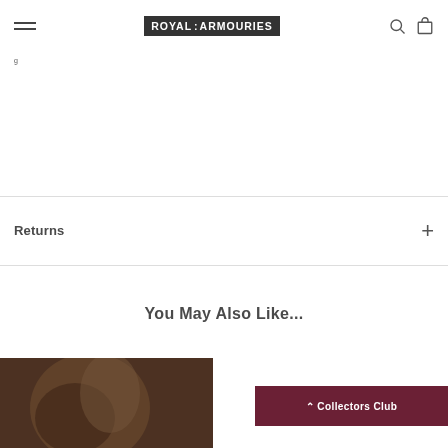ROYAL ARMOURIES
g
Returns
You May Also Like...
[Figure (photo): Partial product photo visible at bottom of page, dark-toned image]
^ Collectors Club